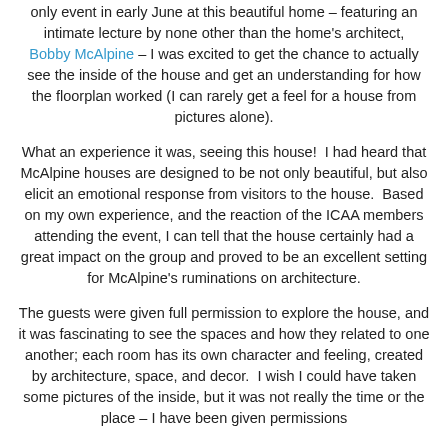only event in early June at this beautiful home – featuring an intimate lecture by none other than the home's architect, Bobby McAlpine – I was excited to get the chance to actually see the inside of the house and get an understanding for how the floorplan worked (I can rarely get a feel for a house from pictures alone).
What an experience it was, seeing this house!  I had heard that McAlpine houses are designed to be not only beautiful, but also elicit an emotional response from visitors to the house.  Based on my own experience, and the reaction of the ICAA members attending the event, I can tell that the house certainly had a great impact on the group and proved to be an excellent setting for McAlpine's ruminations on architecture.
The guests were given full permission to explore the house, and it was fascinating to see the spaces and how they related to one another; each room has its own character and feeling, created by architecture, space, and decor.  I wish I could have taken some pictures of the inside, but it was not really the time or the place – I have been given permissions...